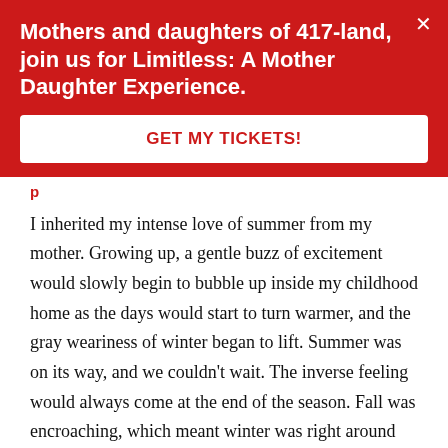Mothers and daughters of 417-land, join us for Limitless: A Mother Daughter Experience.
GET MY TICKETS!
I inherited my intense love of summer from my mother. Growing up, a gentle buzz of excitement would slowly begin to bubble up inside my childhood home as the days would start to turn warmer, and the gray weariness of winter began to lift. Summer was on its way, and we couldn't wait. The inverse feeling would always come at the end of the season. Fall was encroaching, which meant winter was right around the corner. And I hated winter.